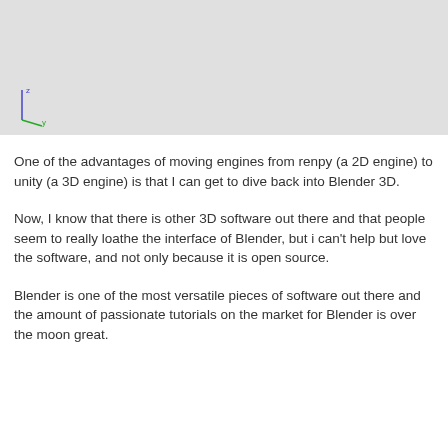[Figure (screenshot): A Blender 3D viewport screenshot showing a light gray background with 3D axis indicators (blue Z axis, green Y axis) visible in the lower left corner.]
One of the advantages of moving engines from renpy (a 2D engine)  to unity (a 3D engine) is that I can get to dive back into Blender 3D.
Now, I know that there is other 3D software out there and that people seem to really loathe the interface of Blender, but i can't help but love the software, and not only because it is open source.
Blender is one of the most versatile pieces of software out there and the amount of passionate tutorials on the market for Blender is over the moon great.